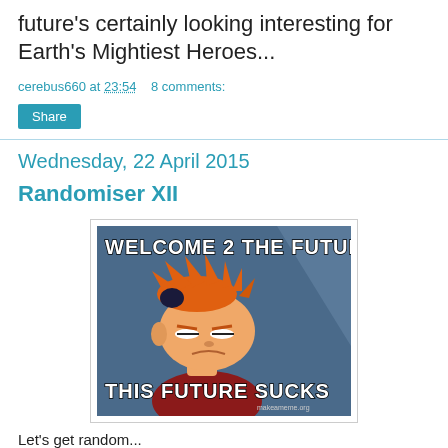future's certainly looking interesting for Earth's Mightiest Heroes...
cerebus660 at 23:54   8 comments:
Share
Wednesday, 22 April 2015
Randomiser XII
[Figure (photo): Futurama Fry meme image with text 'WELCOME 2 THE FUTURE... THIS FUTURE SUCKS' from makeameme.org]
Let's get random...